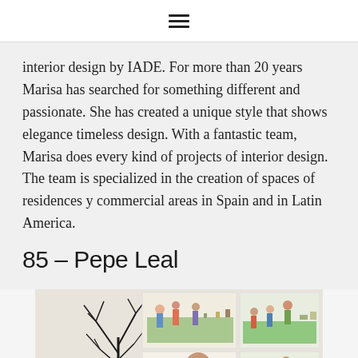≡
interior design by IADE. For more than 20 years Marisa has searched for something different and passionate. She has created a unique style that shows elegance timeless design. With a fantastic team, Marisa does every kind of projects of interior design. The team is specialized in the creation of spaces of residences y commercial areas in Spain and in Latin America.
85 – Pepe Leal
[Figure (photo): A man standing in front of a gallery wall with colorful paintings depicting park scenes and figures. A bare tree sculpture is on the left side.]